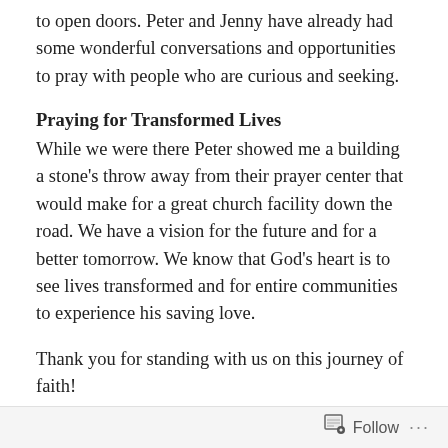to open doors. Peter and Jenny have already had some wonderful conversations and opportunities to pray with people who are curious and seeking.
Praying for Transformed Lives
While we were there Peter showed me a building a stone's throw away from their prayer center that would make for a great church facility down the road. We have a vision for the future and for a better tomorrow. We know that God's heart is to see lives transformed and for entire communities to experience his saving love.
Thank you for standing with us on this journey of faith!
In His Grip, Dave
DiegoLifeOnTheBorder.org
Follow